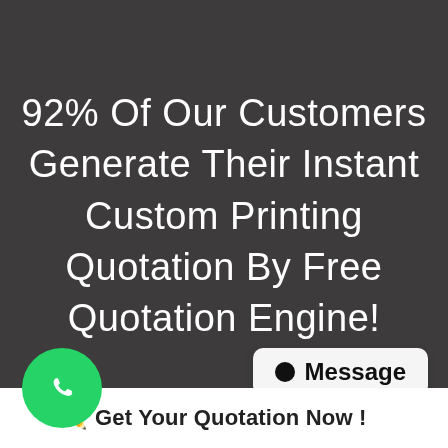92% Of Our Customers Generate Their Instant Custom Printing Quotation By Free Quotation Engine!
[Figure (logo): WhatsApp green circular button with white phone/chat icon]
[Figure (infographic): Message chat bubble with dot icon and 'Message' text label]
Get Your Quotation Now !